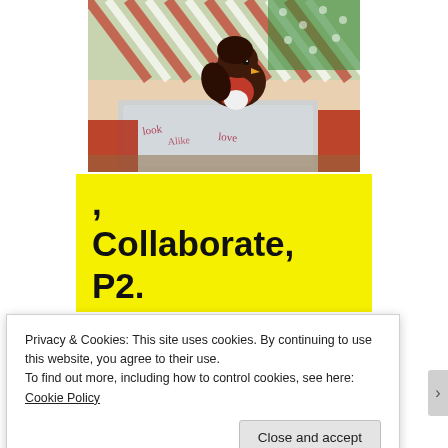[Figure (photo): A Christmas robin felt decoration placed on top of colorful holiday gift wrapping paper and a silver/clear bag. The robin is made of felt with a red breast, dark brown body, and small yellow beak.]
, Collaborate, P2.
Privacy & Cookies: This site uses cookies. By continuing to use this website, you agree to their use.
To find out more, including how to control cookies, see here: Cookie Policy
Close and accept